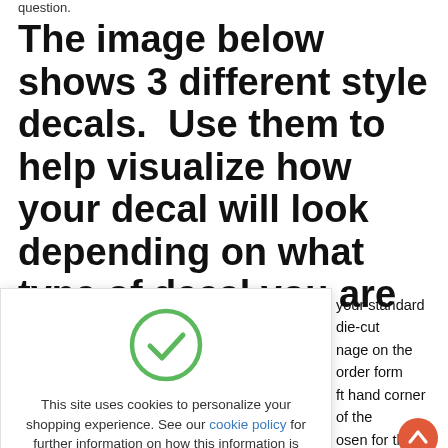question.
The image below shows 3 different style decals.  Use them to help visualize how your decal will look depending on what type of decal you are purchasing.
[Figure (other): Cookie consent banner with green checkmark circle, text about cookie policy, and orange 'Got It!' button]
your standard die-cut nage on the order form ft hand corner of the osen for the color.  As lor shows through all design.  See the order
The middle design is similar but is with a Full